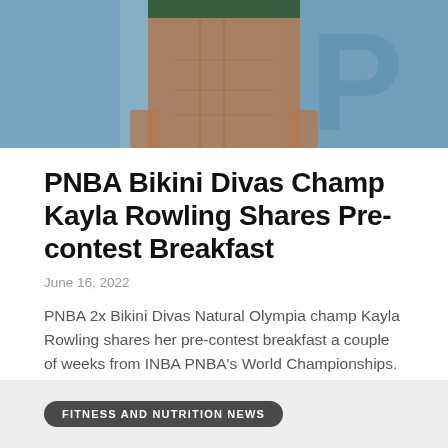[Figure (photo): Cropped photo of a fitness competitor in a bikini on stage, showing midsection with defined abdominal muscles against a blurred blue stage background]
PNBA Bikini Divas Champ Kayla Rowling Shares Pre-contest Breakfast
June 16, 2022
PNBA 2x Bikini Divas Natural Olympia champ Kayla Rowling shares her pre-contest breakfast a couple of weeks from INBA PNBA's World Championships.  Natural bodybuilders follow a different nutrition strategy in-season...
FITNESS AND NUTRITION NEWS